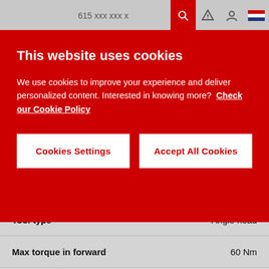615 xxx xxx x
| Specification | Value |
| --- | --- |
| Output drive type | Sq |
| Tool type | Angle head |
| Max torque in forward | 60 Nm |
| Max torque in forward | 44.3 ft.lbf |
| Output drive size (in) | 1/2 |
| Free speed 36V Max | 370 rpm |
| Length (L) | 559 mm |
This website uses cookies

We use cookies to improve your experience and deliver personalized content. Interested in knowing more? Check our Cookie Policy

[Cookies Settings] [Accept All Cookies]